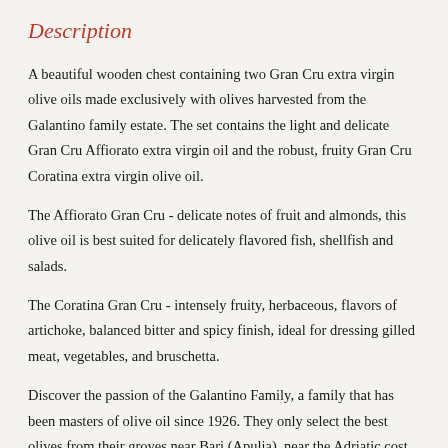Description
A beautiful wooden chest containing two Gran Cru extra virgin olive oils made exclusively with olives harvested from the Galantino family estate. The set contains the light and delicate Gran Cru Affiorato extra virgin oil and the robust, fruity Gran Cru Coratina extra virgin olive oil.
The Affiorato Gran Cru - delicate notes of fruit and almonds, this olive oil is best suited for delicately flavored fish, shellfish and salads.
The Coratina Gran Cru - intensely fruity, herbaceous, flavors of artichoke, balanced bitter and spicy finish, ideal for dressing gilled meat, vegetables, and bruschetta.
Discover the passion of the Galantino Family, a family that has been masters of olive oil since 1926. They only select the best olives from their groves near Bari (Apulia), near the Adriatic cost,